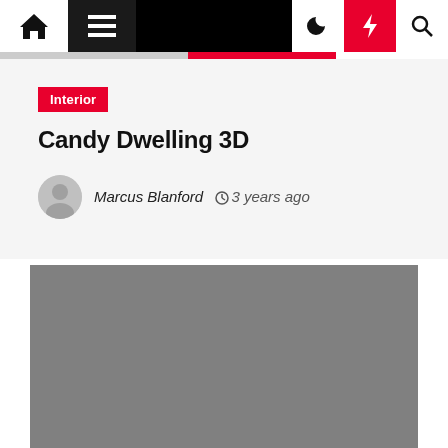Navigation bar with home, menu, moon, bolt, and search icons
Interior
Candy Dwelling 3D
Marcus Blanford  3 years ago
[Figure (photo): Gray placeholder image for article content]